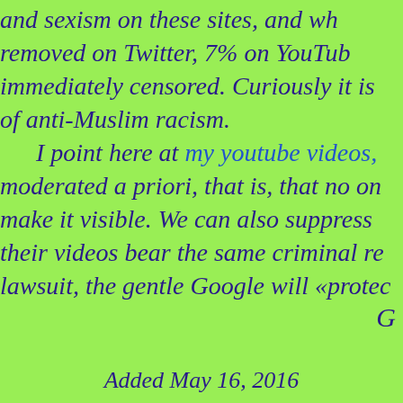and sexism on these sites, and wh removed on Twitter, 7% on YouTube immediately censored. Curiously it is of anti-Muslim racism. I point here at my youtube videos, moderated a priori, that is, that no on make it visible. We can also suppress their videos bear the same criminal re lawsuit, the gentle Google will «protec
G
Added May 16, 2016